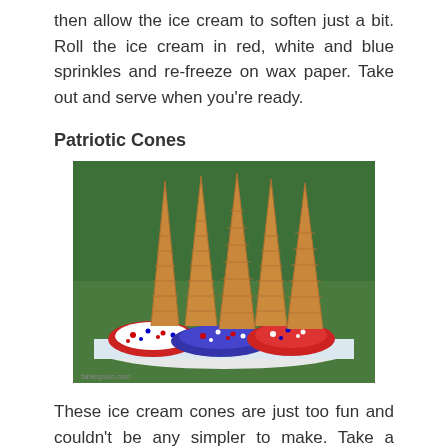then allow the ice cream to soften just a bit. Roll the ice cream in red, white and blue sprinkles and re-freeze on wax paper. Take out and serve when you're ready.
Patriotic Cones
[Figure (photo): Multiple ice cream sugar cones with their open ends dipped in white chocolate and covered with red, white, and blue sprinkles, arranged standing upright on a platter against a green background.]
These ice cream cones are just too fun and couldn't be any simpler to make. Take a sugar cone and roll the top round part in melted white chocolate and then add red, white and blue sprinkles or colored sugar. Line them up on a wax-paper covered platter to harden and then bask in the admiration you will surely receive for your talent and creativity.